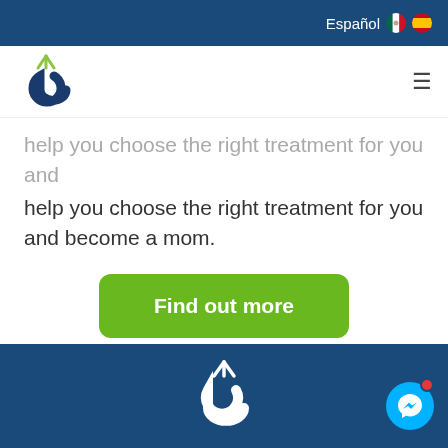Español
[Figure (logo): Letter g logo in dark navy blue with a small yellow/green fork detail on top, representing a fertility clinic brand]
help you choose the right treatment for you and become a mom.
Find out more
If you want to know more about our treatments, we recommend this page.
[Figure (logo): White version of the g logo on dark navy background in footer area]